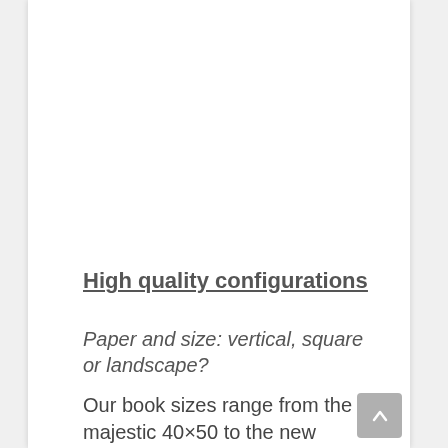High quality configurations
Paper and size: vertical, square or landscape?
Our book sizes range from the majestic 40×50 to the new 35×45, the